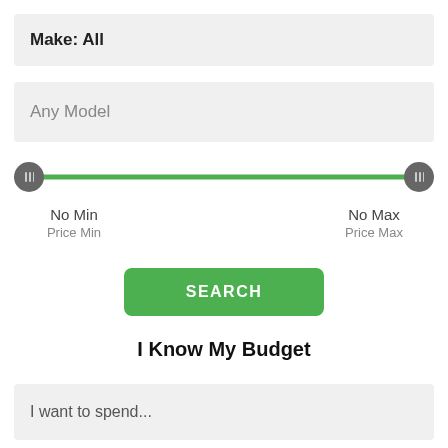Make: All
Any Model
[Figure (other): Price range slider with two handles on a green track, spanning full width. Left handle at minimum, right handle at maximum.]
No Min
Price Min
No Max
Price Max
SEARCH
I Know My Budget
I want to spend...